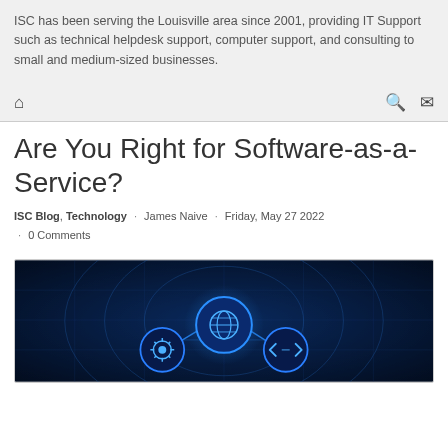ISC has been serving the Louisville area since 2001, providing IT Support such as technical helpdesk support, computer support, and consulting to small and medium-sized businesses.
Are You Right for Software-as-a-Service?
ISC Blog, Technology · James Naive · Friday, May 27 2022 · 0 Comments
[Figure (illustration): Dark blue technology illustration showing connected circular icons with globe, gear/settings, and code bracket symbols on a futuristic circuit board background]